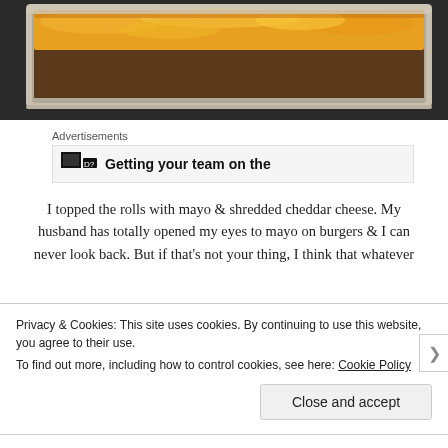[Figure (photo): Close-up photo of rolls topped with melted yellow/orange cheddar cheese on a baking pan, on a dark countertop surface]
Advertisements
[Figure (screenshot): Advertisement banner with icon and text: Getting your team on the]
I topped the rolls with mayo & shredded cheddar cheese. My husband has totally opened my eyes to mayo on burgers & I can never look back. But if that's not your thing, I think that whatever
Privacy & Cookies: This site uses cookies. By continuing to use this website, you agree to their use.
To find out more, including how to control cookies, see here: Cookie Policy
Close and accept